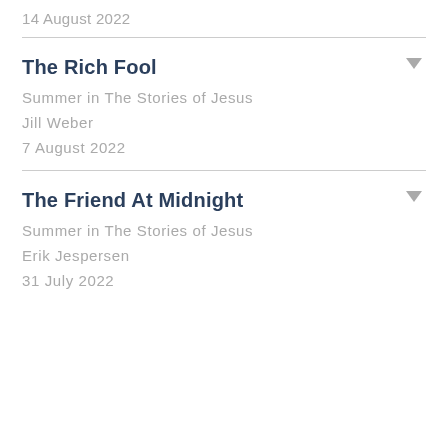14 August 2022
The Rich Fool
Summer in The Stories of Jesus
Jill Weber
7 August 2022
The Friend At Midnight
Summer in The Stories of Jesus
Erik Jespersen
31 July 2022